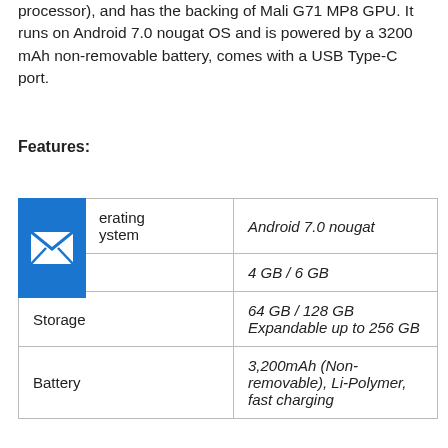processor), and has the backing of Mali G71 MP8 GPU. It runs on Android 7.0 nougat OS and is powered by a 3200 mAh non-removable battery, comes with a USB Type-C port.
Features:
| Feature | Value |
| --- | --- |
| Operating System | Android 7.0 nougat |
| RAM | 4 GB / 6 GB |
| Storage | 64 GB / 128 GB Expandable up to 256 GB |
| Battery | 3,200mAh (Non-removable), Li-Polymer, fast charging |